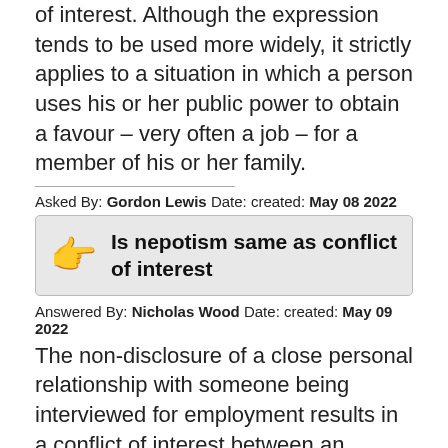of interest. Although the expression tends to be used more widely, it strictly applies to a situation in which a person uses his or her public power to obtain a favour – very often a job – for a member of his or her family.
Asked By: Gordon Lewis Date: created: May 08 2022
Is nepotism same as conflict of interest
Answered By: Nicholas Wood Date: created: May 09 2022
The non-disclosure of a close personal relationship with someone being interviewed for employment results in a conflict of interest between an employee and an employer and is a dismissible offence.